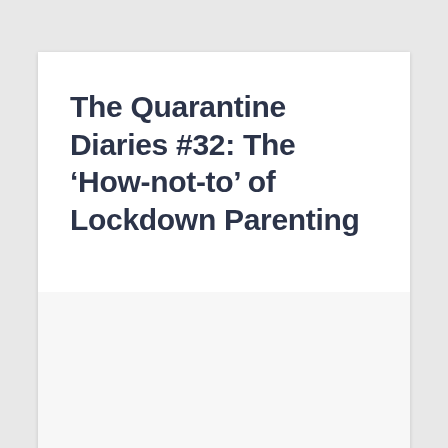The Quarantine Diaries #32: The ‘How-not-to’ of Lockdown Parenting